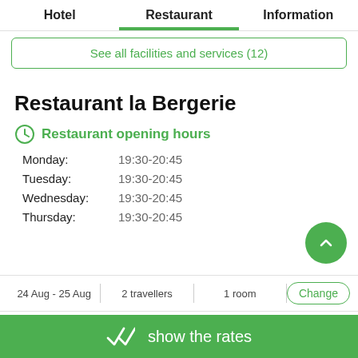Hotel   Restaurant   Information
See all facilities and services (12)
Restaurant la Bergerie
Restaurant opening hours
Monday: 19:30-20:45
Tuesday: 19:30-20:45
Wednesday: 19:30-20:45
Thursday: 19:30-20:45
24 Aug - 25 Aug   2 travellers   1 room   Change
show the rates